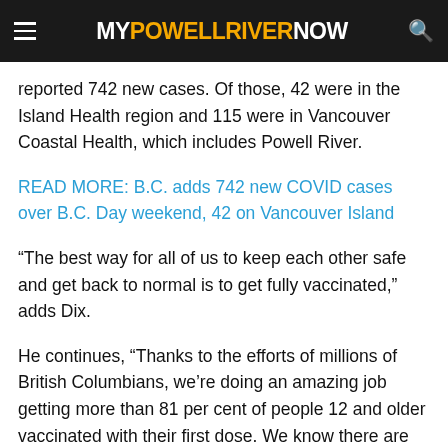MY POWELL RIVER NOW
reported 742 new cases. Of those, 42 were in the Island Health region and 115 were in Vancouver Coastal Health, which includes Powell River.
READ MORE: B.C. adds 742 new COVID cases over B.C. Day weekend, 42 on Vancouver Island
“The best way for all of us to keep each other safe and get back to normal is to get fully vaccinated,” adds Dix.
He continues, “Thanks to the efforts of millions of British Columbians, we’re doing an amazing job getting more than 81 per cent of people 12 and older vaccinated with their first dose. We know there are people out there though who have not had the chance or have been hesitant to get the shot.